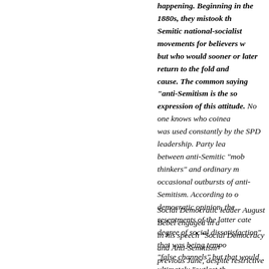could be transformed into racism, but they insisted it was happening. Beginning in the 1880s, they mistook the anti-Semitic national-socialist movements for believers who but who would sooner or later return to the fold and cause. The common saying "anti-Semitism is the so expression of this attitude. No one knows who coined was used constantly by the SPD leadership. Party lea between anti-Semitic "mob thinkers" and ordinary m occasional outbursts of anti-Semitism. According to o democratic opinion, the resentments of the latter cate degree of social dissatisfaction" that was being tempo "false channels" but that would ultimately "outlast th con" and benefit the SPD. This way of thinking was a 1881, in the social-democratic response to the anti-Je Russia. "Once unleashed," wrote one SPD leader, "p will not stop with the Jew, but end in an uprising agai
Social Democratic leader August Bebel engaged in a in his speech "Social Democracy and Anti-Semitism" previous June, despite restrictive election rules, anti-S surprisingly won 16 of 397 voting districts in the par unsavory stirring up of hatred, Bebel argued, was a r